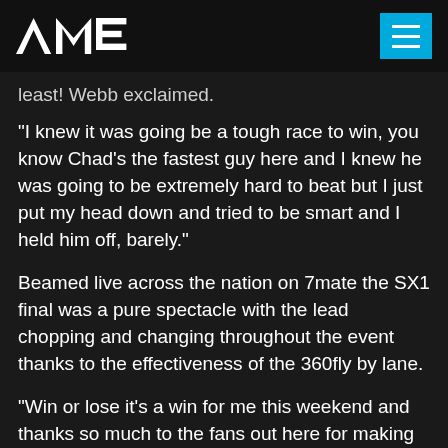AME
least!  Webb exclaimed.
“I knew it was going be a tough race to win, you know Chad’s the fastest guy here and I knew he was going to be extremely hard to beat but I just put my head down and tried to be smart and I held him off, barely.”
Beamed live across the nation on 7mate the SX1 final was a pure spectacle with the lead chopping and changing throughout the event thanks to the effectiveness of the 360fly by lane.
“Win or lose it’s a win for me this weekend and thanks so much to the fans out here for making